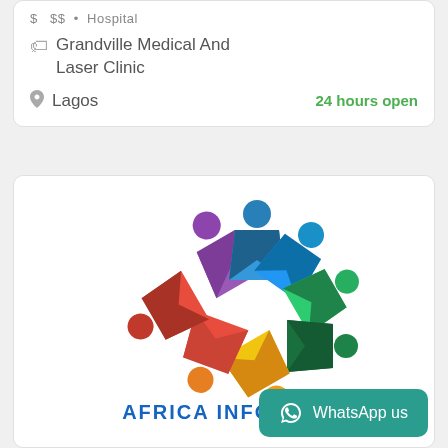$ $$ Hospital
Grandville Medical And Laser Clinic
Lagos
24 hours open
[Figure (logo): Colorful circular arrow logo with people figures in purple, blue, green, red, orange colors arranged in a circle, with text AFRICA INFOLINE below]
WhatsApp us